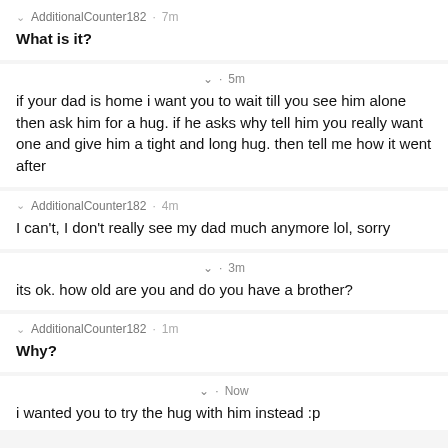AdditionalCounter182 · 7m
What is it?
· 5m
if your dad is home i want you to wait till you see him alone then ask him for a hug. if he asks why tell him you really want one and give him a tight and long hug. then tell me how it went after
AdditionalCounter182 · 4m
I can't, I don't really see my dad much anymore lol, sorry
· 3m
its ok. how old are you and do you have a brother?
AdditionalCounter182 · 1m
Why?
· Now
i wanted you to try the hug with him instead :p